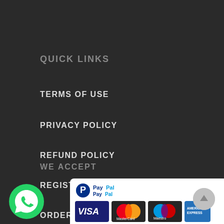QUICK LINKS
TERMS OF USE
PRIVACY POLICY
REFUND POLICY
REGISTER
ORDER NOW
WE ACCEPT
[Figure (logo): PayPal logo with blue P and PayPal text]
[Figure (logo): WhatsApp green icon, VISA card logo, MasterCard logo, Maestro logo, American Express logo, and a circular scroll-to-top button]